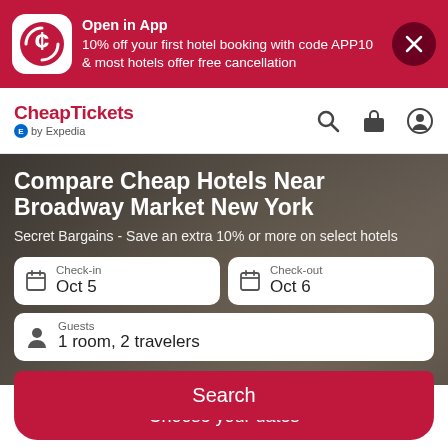[Figure (screenshot): CheapTickets app promotion banner with logo, promotional text, and close button]
[Figure (logo): CheapTickets by Expedia logo with search, briefcase, and account icons]
Compare Cheap Hotels Near Broadway Market New York
Secret Bargains - Save an extra 10% or more on select hotels
Check-in Oct 5
Check-out Oct 6
Guests 1 room, 2 travelers
Search
Choose your dates